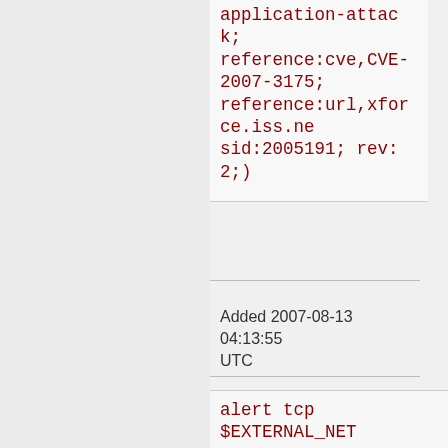application-attack; reference:cve,CVE-2007-3175; reference:url,xforce.iss.ne sid:2005191; rev:2;)
Added 2007-08-13 04:13:55 UTC
alert tcp $EXTERNAL_NET any -> $HTTP_SERVERS $HTTP_PORTS (msg:"BLEEDING-EDGE WEB W2B? Online Banking SQL Injection Attempt -- DocPay?.w2b listDocPay